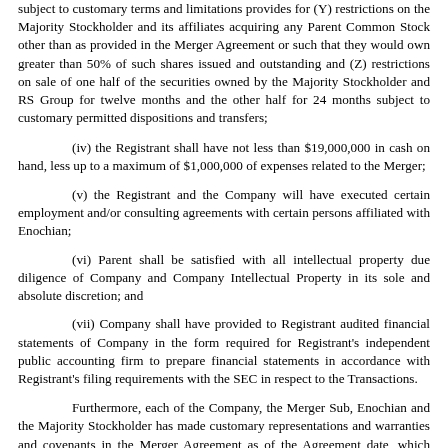subject to customary terms and limitations provides for (Y) restrictions on the Majority Stockholder and its affiliates acquiring any Parent Common Stock other than as provided in the Merger Agreement or such that they would own greater than 50% of such shares issued and outstanding and (Z) restrictions on sale of one half of the securities owned by the Majority Stockholder and RS Group for twelve months and the other half for 24 months subject to customary permitted dispositions and transfers;
(iv) the Registrant shall have not less than $19,000,000 in cash on hand, less up to a maximum of $1,000,000 of expenses related to the Merger;
(v) the Registrant and the Company will have executed certain employment and/or consulting agreements with certain persons affiliated with Enochian;
(vi) Parent shall be satisfied with all intellectual property due diligence of Company and Company Intellectual Property in its sole and absolute discretion; and
(vii) Company shall have provided to Registrant audited financial statements of Company in the form required for Registrant's independent public accounting firm to prepare financial statements in accordance with Registrant's filing requirements with the SEC in respect to the Transactions.
Furthermore, each of the Company, the Merger Sub, Enochian and the Majority Stockholder has made customary representations and warranties and covenants in the Merger Agreement as of the Agreement date, which shall also be true as of closing. In particular, each of the Company, Enochian and the Majority Stockholder has agreed to, among others, covenants (i) to conduct its